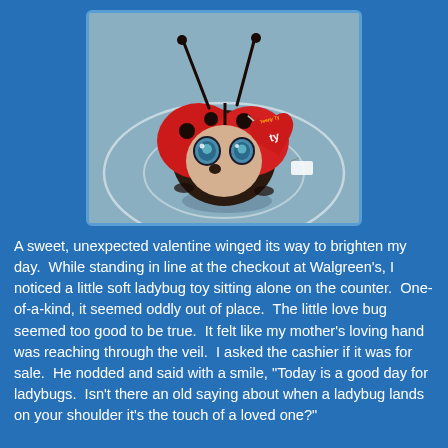[Figure (photo): A small Ty Teeny Ty ladybug plush toy with big glassy blue eyes, red and black body, black antennae, and a red Ty heart-shaped tag, sitting on a light blue/gray surface with circular white line markings.]
A sweet, unexpected valentine winged its way to brighten my day.  While standing in line at the checkout at Walgreen's, I noticed a little soft ladybug toy sitting alone on the counter.  One-of-a-kind, it seemed oddly out of place.  The little love bug seemed too good to be true.  It felt like my mother's loving hand was reaching through the veil.  I asked the cashier if it was for sale.  He nodded and said with a smile, "Today is a good day for ladybugs.  Isn't there an old saying about when a ladybug lands on your shoulder it's the touch of a loved one?"